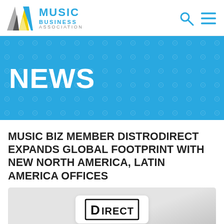Music Business Association — NEWS
[Figure (logo): Music Business Association logo with stylized M mark and cyan text]
NEWS
MUSIC BIZ MEMBER DISTRODIRECT EXPANDS GLOBAL FOOTPRINT WITH NEW NORTH AMERICA, LATIN AMERICA OFFICES
[Figure (photo): DistrodDirect logo on grey background]